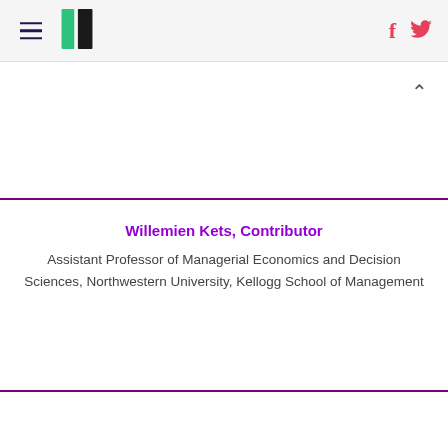HuffPost navigation with hamburger menu, logo, Facebook and Twitter icons
Willemien Kets, Contributor
Assistant Professor of Managerial Economics and Decision Sciences, Northwestern University, Kellogg School of Management